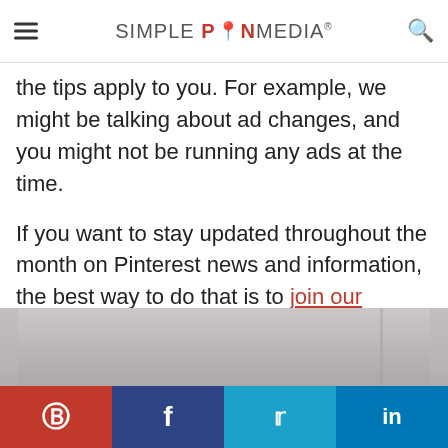SIMPLE PIN MEDIA
the tips apply to you. For example, we might be talking about ad changes, and you might not be running any ads at the time.

If you want to stay updated throughout the month on Pinterest news and information, the best way to do that is to join our weekly email newsletter. You can also join our Facebook group.
[Figure (photo): Partial view of a room interior, light gray/beige walls]
Pinterest | Facebook | Twitter | LinkedIn social share buttons